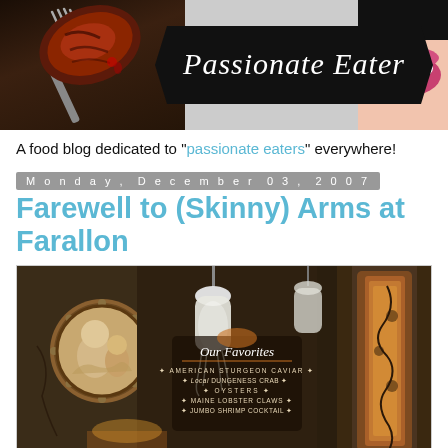[Figure (photo): Passionate Eater food blog header banner with fork holding steak on left, blog title in ribbon center, smiling mouth on right]
A food blog dedicated to "passionate eaters" everywhere!
Monday, December 03, 2007
Farewell to (Skinny) Arms at Farallon
[Figure (photo): Interior photo of Farallon restaurant showing decorative jellyfish lamps, ornate columns, circular porthole artwork with cherub painting, and menu board reading 'Our Favorites: American Sturgeon Caviar, Local Dungeness Crab, Oysters, Maine Lobster Claws, Jumbo Shrimp Cocktail']